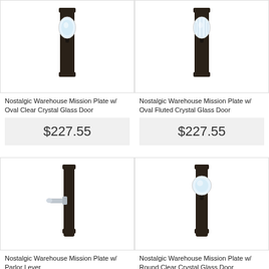[Figure (photo): Nostalgic Warehouse Mission Plate with Oval Clear Crystal Glass Door knob hardware, dark bronze finish]
Nostalgic Warehouse Mission Plate w/ Oval Clear Crystal Glass Door
$227.55
[Figure (photo): Nostalgic Warehouse Mission Plate with Oval Fluted Crystal Glass Door knob hardware, dark bronze finish]
Nostalgic Warehouse Mission Plate w/ Oval Fluted Crystal Glass Door
$227.55
[Figure (photo): Nostalgic Warehouse Mission Plate with Parlor Lever hardware, dark bronze finish]
Nostalgic Warehouse Mission Plate w/ Parlor Lever
[Figure (photo): Nostalgic Warehouse Mission Plate with Round Clear Crystal Glass Door knob hardware, dark bronze finish]
Nostalgic Warehouse Mission Plate w/ Round Clear Crystal Glass Door